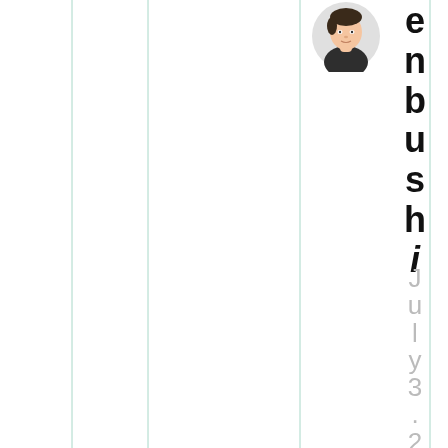[Figure (illustration): Circular avatar of a person (cartoon/illustration style) in the upper right area of the page]
e
n
b
u
s
h
i
J
u
l
y
3
.
2
0
2
0